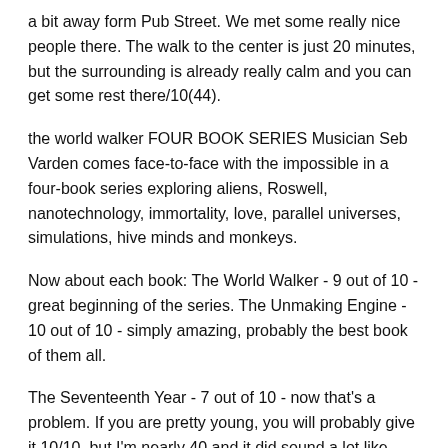a bit away form Pub Street. We met some really nice people there. The walk to the center is just 20 minutes, but the surrounding is already really calm and you can get some rest there/10(44).
the world walker FOUR BOOK SERIES Musician Seb Varden comes face-to-face with the impossible in a four-book series exploring aliens, Roswell, nanotechnology, immortality, love, parallel universes, simulations, hive minds and monkeys.
Now about each book: The World Walker - 9 out of 10 - great beginning of the series. The Unmaking Engine - 10 out of 10 - simply amazing, probably the best book of them all.
The Seventeenth Year - 7 out of 10 - now that's a problem. If you are pretty young, you will probably give it 10/10, but I'm nearly 40 and it did sound a lot like teenage. Karen Thompson Walker is the author of the New York Times bestselling novel The Age of Miracles, which has been translated into twenty-seven languages and named one of the best books of the year by People, O: The Oprah Magazine, and Financial Times, among others.